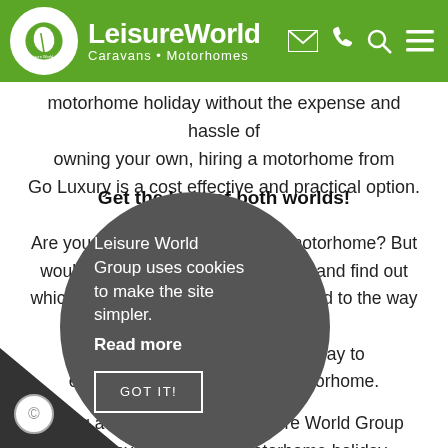LeisureWorld Caravans • Motorhomes
motorhome holiday without the expense and hassle of owning your own, hiring a motorhome from Go Luxury is a cost effective and practical option.
Get the best of both worlds!
Are you thinking of investing in a motorhome? But would you like to try for the lifestyle and find out which type of motorhome is best suited to the way you travel? If so, there's no better way to experience quality time in a motorhome.
Hire a motorhome from Leisure World Group and enjoy a Go Luxury motorhome holiday, then put some of the hire price back towards your motorhome purchase (maximum qualifying hire period 7 nights).
Leisure World Group uses cookies to make the site simpler. Read more GOT IT!